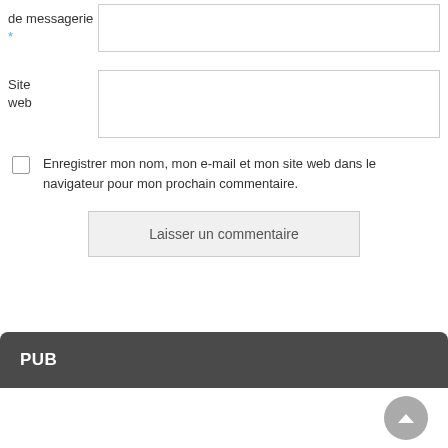de messagerie *
Site web
Enregistrer mon nom, mon e-mail et mon site web dans le navigateur pour mon prochain commentaire.
Laisser un commentaire
PUB